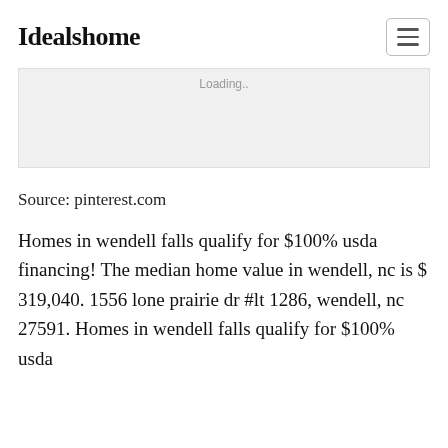Idealshome
[Figure (other): Loading placeholder image area with grey background and 'Loading..' text]
Source: pinterest.com
Homes in wendell falls qualify for $100% usda financing! The median home value in wendell, nc is $ 319,040. 1556 lone prairie dr #lt 1286, wendell, nc 27591. Homes in wendell falls qualify for $100% usda